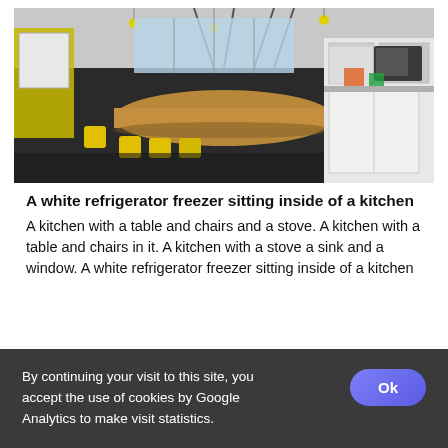[Figure (photo): Wide-angle/panoramic interior photo of a modern office or coworking space with large wooden curved tables, yellow chairs, white cabinets on the right with appliances (refrigerator, microwave), hanging industrial lights, large windows, and a whiteboard on the left wall.]
A white refrigerator freezer sitting inside of a kitchen
A kitchen with a table and chairs and a stove. A kitchen with a table and chairs in it. A kitchen with a stove a sink and a window. A white refrigerator freezer sitting inside of a kitchen
By continuing your visit to this site, you accept the use of cookies by Google Analytics to make visit statistics.